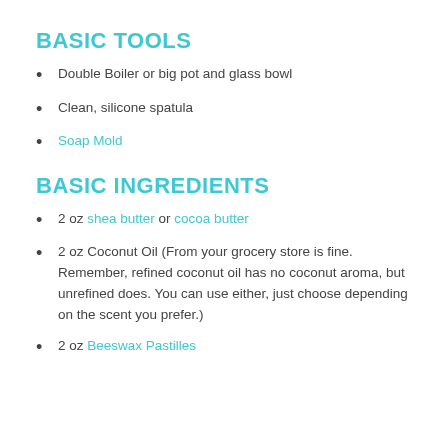BASIC TOOLS
Double Boiler or big pot and glass bowl
Clean, silicone spatula
Soap Mold
BASIC INGREDIENTS
2 oz shea butter or cocoa butter
2 oz Coconut Oil (From your grocery store is fine. Remember, refined coconut oil has no coconut aroma, but unrefined does. You can use either, just choose depending on the scent you prefer.)
2 oz Beeswax Pastilles